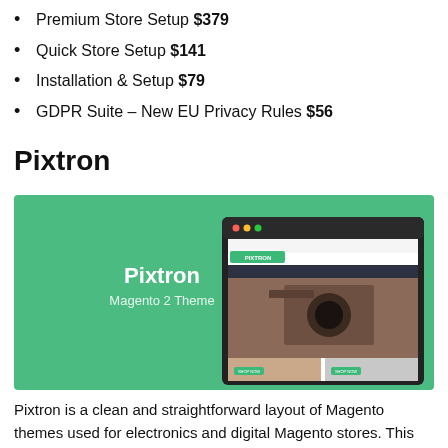Premium Store Setup $379
Quick Store Setup $141
Installation & Setup $79
GDPR Suite – New EU Privacy Rules $56
Pixtron
[Figure (screenshot): Screenshot of the Pixtron Magento 2 Theme with green background on the left showing 'Pixtron Magento 2 Theme' text and a browser mockup on the right showing the Pixtron store with a camera/photography product.]
Pixtron is a clean and straightforward layout of Magento themes used for electronics and digital Magento stores. This theme is fully responsive and …